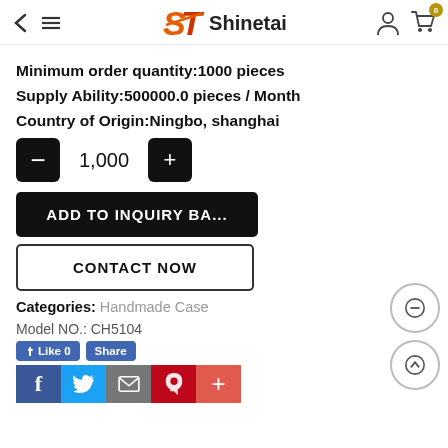Shinetai
Minimum order quantity:1000 pieces
Supply Ability:500000.0 pieces / Month
Country of Origin:Ningbo, shanghai
1,000
ADD TO INQUIRY BA...
CONTACT NOW
Categories: Handmade Case
Model NO.: CH5104